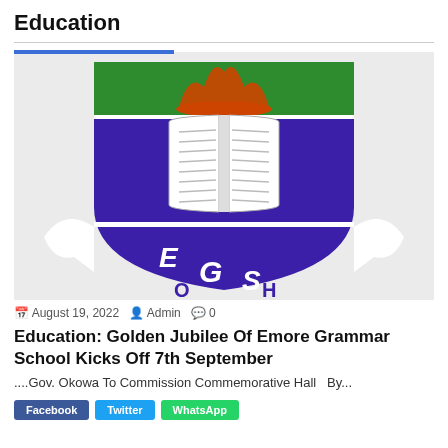Education
[Figure (logo): EGS school crest/coat of arms featuring a purple shield with an open book, green and orange top section with a crown, and a white banner with letters E, G, S, O, H at the bottom.]
August 19, 2022  Admin  0
Education: Golden Jubilee Of Emore Grammar School Kicks Off 7th September
....Gov. Okowa To Commission Commemorative Hall  By...